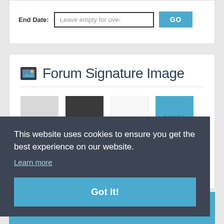End Date:
[Figure (screenshot): Form row with End Date label, text input saying 'Leave empty for over', and a blue GO button]
Forum Signature Image
[Figure (screenshot): Four theme swatches: LIGHT (light grey), DARK (dark grey), MINIMAL (white), CUSTOM (blue)]
This website uses cookies to ensure you get the best experience on our website.
Learn more
Got it!
[Figure (screenshot): Clan History section header with blue background and group icon]